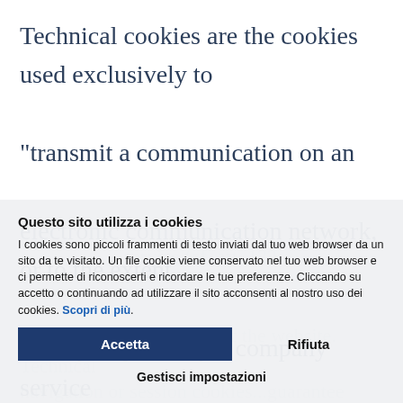Technical cookies are the cookies used exclusively to "transmit a communication on an electronic communication network, or to the extent strictly required by a company service provider responsible for delivering information explicitly requested by the subscriber or user
Questo sito utilizza i cookies
I cookies sono piccoli frammenti di testo inviati dal tuo web browser da un sito da te visitato. Un file cookie viene conservato nel tuo web browser e ci permette di riconoscerti e ricordare le tue preferenze. Cliccando su accetto o continuando ad utilizzare il sito acconsenti al nostro uso dei cookies. Scopri di più.
Accetta
Rifiuta
Gestisci impostazioni